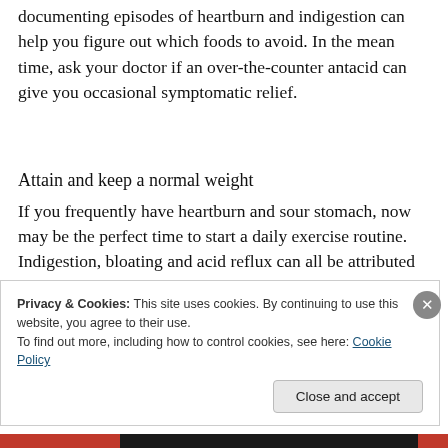documenting episodes of heartburn and indigestion can help you figure out which foods to avoid. In the mean time, ask your doctor if an over-the-counter antacid can give you occasional symptomatic relief.
Attain and keep a normal weight
If you frequently have heartburn and sour stomach, now may be the perfect time to start a daily exercise routine. Indigestion, bloating and acid reflux can all be attributed to
Privacy & Cookies: This site uses cookies. By continuing to use this website, you agree to their use.
To find out more, including how to control cookies, see here: Cookie Policy
Close and accept